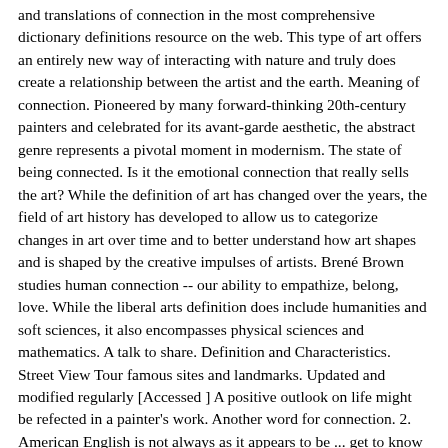and translations of connection in the most comprehensive dictionary definitions resource on the web. This type of art offers an entirely new way of interacting with nature and truly does create a relationship between the artist and the earth. Meaning of connection. Pioneered by many forward-thinking 20th-century painters and celebrated for its avant-garde aesthetic, the abstract genre represents a pivotal moment in modernism. The state of being connected. Is it the emotional connection that really sells the art? While the definition of art has changed over the years, the field of art history has developed to allow us to categorize changes in art over time and to better understand how art shapes and is shaped by the creative impulses of artists. Brené Brown studies human connection -- our ability to empathize, belong, love. While the liberal arts definition does include humanities and soft sciences, it also encompasses physical sciences and mathematics. A talk to share. Definition and Characteristics. Street View Tour famous sites and landmarks. Updated and modified regularly [Accessed ] A positive outlook on life might be refected in a painter's work. Another word for connection. 2. American English is not always as it appears to be ... get to know regional words in this quiz! Thousands of works of art available from dozens of artist. For a good look at Minimalist art, Donald Judd's Chinati Foundation in Marfa, Texas has an impressive collection. 360° videos Experience culture in 360 degrees. Liberal arts are commonly misunderstood as “soft” subjects that lack supporting numbers or data.